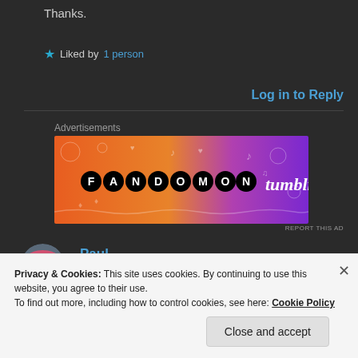Thanks.
★ Liked by 1 person
Log in to Reply
Advertisements
[Figure (illustration): Fandom on Tumblr advertisement banner with gradient orange to purple background and decorative icons]
REPORT THIS AD
[Figure (photo): Avatar photo of commenter Paul wearing a pink cap]
Paul
NOVEMBER 27, 2016 AT 2:28 AM
Privacy & Cookies: This site uses cookies. By continuing to use this website, you agree to their use.
To find out more, including how to control cookies, see here: Cookie Policy
Close and accept